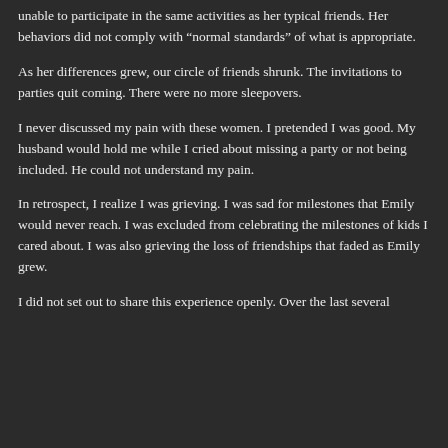unable to participate in the same activities as her typical friends. Her behaviors did not comply with “normal standards” of what is appropriate.
As her differences grew, our circle of friends shrunk. The invitations to parties quit coming. There were no more sleepovers.
I never discussed my pain with these women. I pretended I was good. My husband would hold me while I cried about missing a party or not being included. He could not understand my pain.
In retrospect, I realize I was grieving. I was sad for milestones that Emily would never reach. I was excluded from celebrating the milestones of kids I cared about. I was also grieving the loss of friendships that faded as Emily grew.
I did not set out to share this experience openly. Over the last several